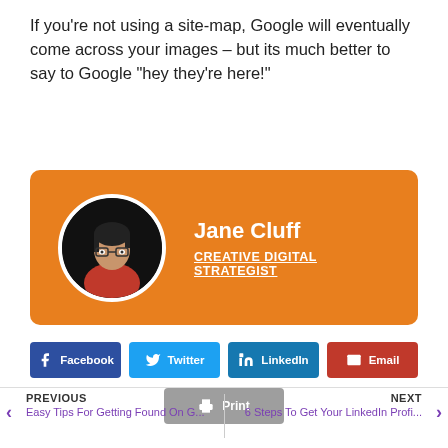If you're not using a site-map, Google will eventually come across your images – but its much better to say to Google "hey they're here!"
[Figure (other): Author card with orange background featuring a circular photo of Jane Cluff (woman wearing glasses and red turtleneck against dark background), her name in white bold text, and title 'CREATIVE DIGITAL STRATEGIST' in white underlined text]
[Figure (infographic): Row of social share buttons: Facebook (dark blue), Twitter (light blue), LinkedIn (medium blue), Email (red), and a Print button (grey)]
PREVIOUS Easy Tips For Getting Found On G... | NEXT 6 Steps To Get Your LinkedIn Profi...